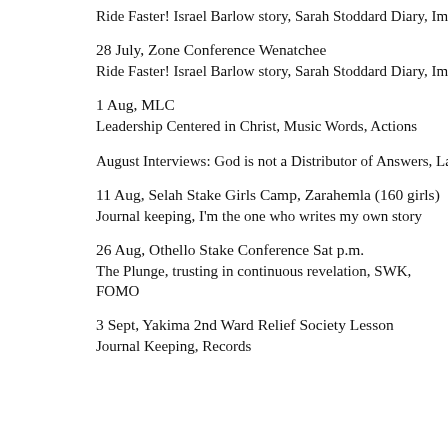Ride Faster! Israel Barlow story, Sarah Stoddard Diary, Importa…
28 July, Zone Conference Wenatchee
Ride Faster! Israel Barlow story, Sarah Stoddard Diary, Importa…
1 Aug, MLC
Leadership Centered in Christ, Music Words, Actions
August Interviews: God is not a Distributor of Answers, Langua…
11 Aug, Selah Stake Girls Camp, Zarahemla (160 girls)
Journal keeping, I'm the one who writes my own story
26 Aug, Othello Stake Conference Sat p.m.
The Plunge, trusting in continuous revelation, SWK, FOMO
3 Sept, Yakima 2nd Ward Relief Society Lesson
Journal Keeping, Records